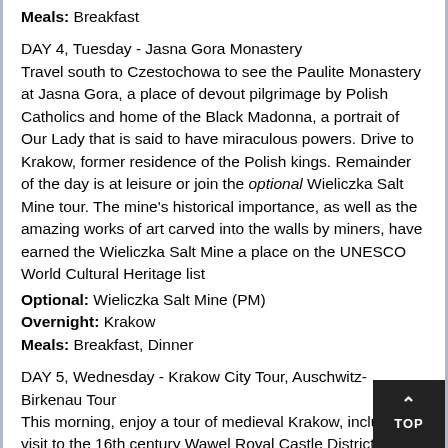Meals: Breakfast
DAY 4, Tuesday - Jasna Gora Monastery
Travel south to Czestochowa to see the Paulite Monastery at Jasna Gora, a place of devout pilgrimage by Polish Catholics and home of the Black Madonna, a portrait of Our Lady that is said to have miraculous powers. Drive to Krakow, former residence of the Polish kings. Remainder of the day is at leisure or join the optional Wieliczka Salt Mine tour. The mine's historical importance, as well as the amazing works of art carved into the walls by miners, have earned the Wieliczka Salt Mine a place on the UNESCO World Cultural Heritage list
Optional: Wieliczka Salt Mine (PM)
Overnight: Krakow
Meals: Breakfast, Dinner
DAY 5, Wednesday - Krakow City Tour, Auschwitz-Birkenau Tour
This morning, enjoy a tour of medieval Krakow, including a visit to the 16th century Wawel Royal Castle District. Proceed to the Jewish Quarter and visit the Ghetto Heroes Square, view the Jewish Ghetto Memorial, called "The Lonely Cha... Continue to the Old Town and Market Square to view St. Mary's Church and the Renaissance Cloth Hall. In the